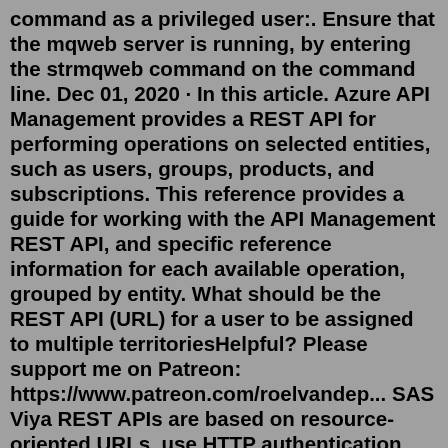command as a privileged user:. Ensure that the mqweb server is running, by entering the strmqweb command on the command line. Dec 01, 2020 · In this article. Azure API Management provides a REST API for performing operations on selected entities, such as users, groups, products, and subscriptions. This reference provides a guide for working with the API Management REST API, and specific reference information for each available operation, grouped by entity. What should be the REST API (URL) for a user to be assigned to multiple territoriesHelpful? Please support me on Patreon: https://www.patreon.com/roelvandep... SAS Viya REST APIs are based on resource-oriented URLs, use HTTP authentication and HTTP verbs, and return HTTP response codes to indicate API errors. With SAS Viya REST APIs, you can create and access SAS resources using any client technology. The following documentation covers how to register clients, create access tokens, and make basic API ...Hub's REST API is available by the following URL: <Hub Service...